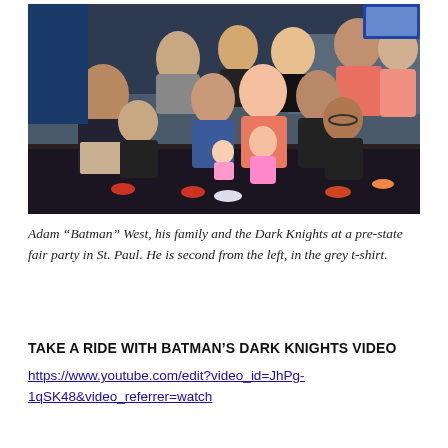[Figure (photo): Group photo of Adam 'Batman' West, his family and the Dark Knights at a pre-state fair party in St. Paul, taken inside what appears to be a bowling alley. Multiple people of various ages are posing together, including adults and a young child in a pink outfit.]
Adam “Batman” West, his family and the Dark Knights at a pre-state fair party in St. Paul. He is second from the left, in the grey t-shirt.
TAKE A RIDE WITH BATMAN’S DARK KNIGHTS VIDEO
https://www.youtube.com/edit?video_id=JhPg-1qSK48&video_referrer=watch